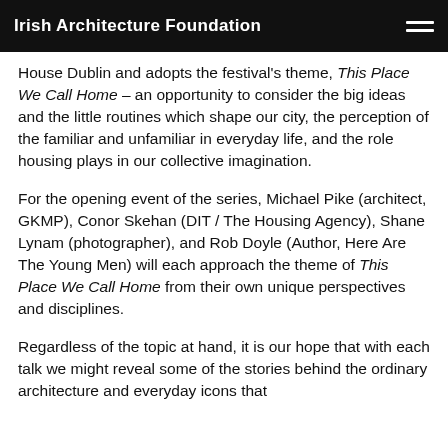Irish Architecture Foundation
House Dublin and adopts the festival's theme, This Place We Call Home – an opportunity to consider the big ideas and the little routines which shape our city, the perception of the familiar and unfamiliar in everyday life, and the role housing plays in our collective imagination.
For the opening event of the series, Michael Pike (architect, GKMP), Conor Skehan (DIT / The Housing Agency), Shane Lynam (photographer), and Rob Doyle (Author, Here Are The Young Men) will each approach the theme of This Place We Call Home from their own unique perspectives and disciplines.
Regardless of the topic at hand, it is our hope that with each talk we might reveal some of the stories behind the ordinary architecture and everyday icons that